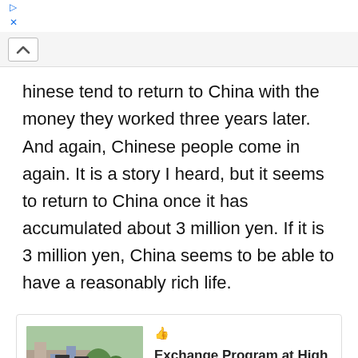[Figure (infographic): Advertisement banner for Back To School Essentials at Leesburg Premium Outlets, with circular logo and blue diamond arrow icon]
hinese tend to return to China with the money they worked three years later. And again, Chinese people come in again. It is a story I heard, but it seems to return to China once it has accumulated about 3 million yen. If it is 3 million yen, China seems to be able to have a reasonably rich life.
[Figure (infographic): Related article card with graduation photo: Exchange Program at High School in USA!! Footballs, Graduation Ceremony... Everything is Great, dated 2019.08.05]